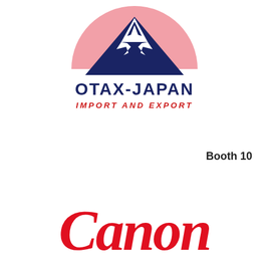[Figure (logo): OTAX-JAPAN Import and Export logo: a pink semicircle (sun/Fuji background) with a dark navy mountain (Mt. Fuji) silhouette with white snow cap, above the text OTAX-JAPAN in dark navy bold and IMPORT AND EXPORT in red bold italic]
Booth 10
[Figure (logo): Canon wordmark in bold red italic serif font]